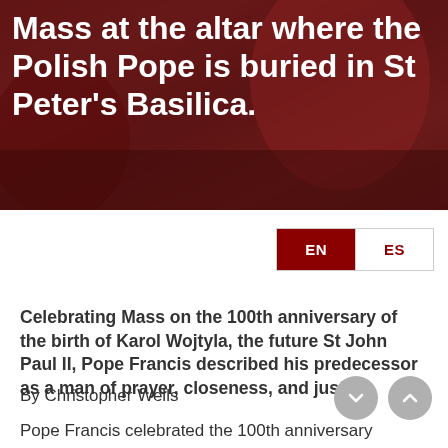[Figure (photo): Dark reddish-toned image of a religious figure, partially visible, used as hero background for the article.]
Mass at the altar where the Polish Pope is buried in St Peter's Basilica.
EN  ES
Celebrating Mass on the 100th anniversary of the birth of Karol Wojtyla, the future St John Paul II, Pope Francis described his predecessor as a man of prayer, closeness, and justice.
By Christopher Wells
Pope Francis celebrated the 100th anniversary